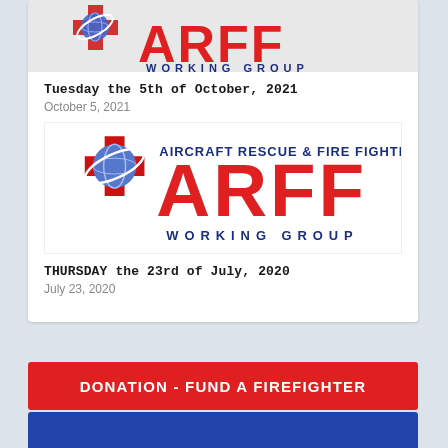[Figure (logo): ARFF Working Group logo — badge with globe, airplane, and 'ARFF WORKING GROUP' text in red and navy blue, partial view at top]
Tuesday the 5th of October, 2021
October 5, 2021
[Figure (logo): ARFF Working Group logo — 'AIRCRAFT RESCUE & FIRE FIGHTING ARFF WORKING GROUP' with badge, globe, and airplane, red and blue]
THURSDAY the 23rd of July, 2020
July 23, 2020
DONATION - FUND A FIREFIGHTER